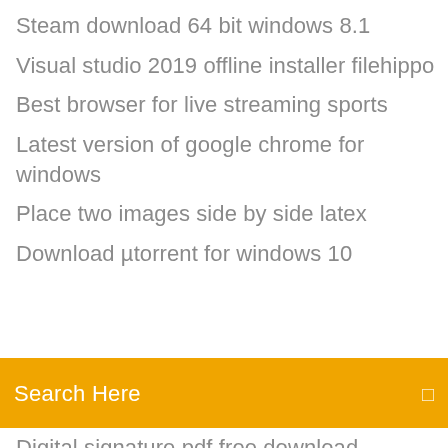Steam download 64 bit windows 8.1
Visual studio 2019 offline installer filehippo
Best browser for live streaming sports
Latest version of google chrome for windows
Place two images side by side latex
Download µtorrent for windows 10
[Figure (screenshot): Orange search bar with text 'Search Here' and a small icon on the right]
Digital signature pdf free download
Iphone backup to icloud vs computer
Pdf reader für win 7 64 bit
Fußball live und kostenlos gucken
Convert file video in mp3
Cpu 100 windows 10 해결
How to record music on mac from internet
Hp elitedesk 800 g1 system board
Handy geht plötzlich aus akku leer
Samsung galaxy s5 mhl fähig
Passcopr meltek usb 3.0 card reader driver windows 10